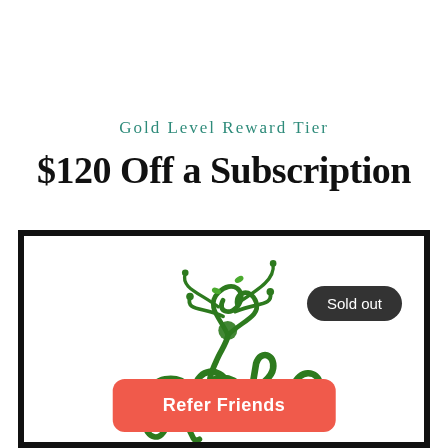Gold Level Reward Tier
$120 Off a Subscription
[Figure (illustration): Decorative green floral/vine script illustration with 'Sold out' badge overlay and 'Refer Friends' button at bottom]
Sold out
Refer Friends